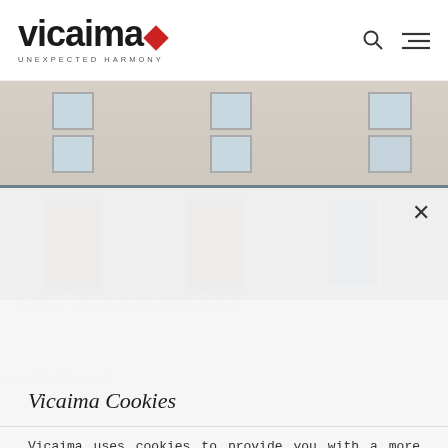[Figure (logo): Vicaima logo with red diamond and tagline UNEXPECTED HARMONY]
[Figure (photo): Exterior of Puro Porto Boutique Hotel building facade with grey doors and windows]
Vicaima Cookies
Vicaima uses cookies to provide you with a more efficient navigation and to optimise your experience when you visit our site. By continuing, without changing your parameters, we consider that you consent to the use of cookies. For more information consult our Cookies Policy